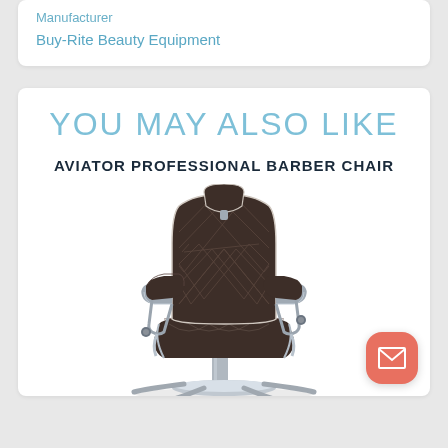Manufacturer
Buy-Rite Beauty Equipment
YOU MAY ALSO LIKE
AVIATOR PROFESSIONAL BARBER CHAIR
[Figure (photo): Aviator Professional Barber Chair — dark brown quilted diamond-pattern leather upholstery with chrome armrests and base, adjustable headrest, viewed from a slight front-left angle]
[Figure (other): Email/contact button — coral/salmon rounded square icon with white envelope symbol]